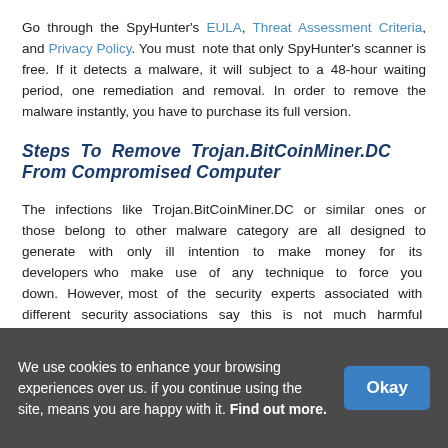Go through the SpyHunter's EULA, Threat Assessment Criteria, and Privacy Policy. You must note that only SpyHunter's scanner is free. If it detects a malware, it will subject to a 48-hour waiting period, one remediation and removal. In order to remove the malware instantly, you have to purchase its full version.
Steps To Remove Trojan.BitCoinMiner.DC From Compromised Computer
The infections like Trojan.BitCoinMiner.DC or similar ones or those belong to other malware category are all designed to generate with only ill intention to make money for its developers who make use of any technique to force you down. However, most of the security experts associated with different security associations say this is not much harmful browser and can be removed from an infected computer by getting through some steps. If you follow the steps in the same order and with full
We use cookies to enhance your browsing experiences over us. if you continue using the site, means you are happy with it. Find out more.